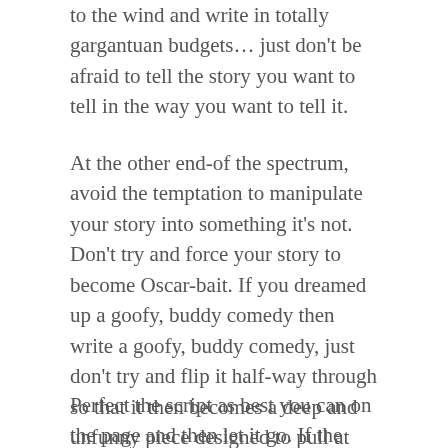to the wind and write in totally gargantuan budgets… just don't be afraid to tell the story you want to tell in the way you want to tell it.
At the other end-of the spectrum, avoid the temptation to manipulate your story into something it's not. Don't try and force your story to become Oscar-bait. If you dreamed up a goofy, buddy comedy then write a goofy, buddy comedy, just don't try and flip it half-way through so that it then becomes a deep and unfunny piece designed to pull at Academy members' ballot papers. Create something that does what it says on the tin.
Perfect the script as best you can on the page and then let it go. If the director is good, they'll be able to